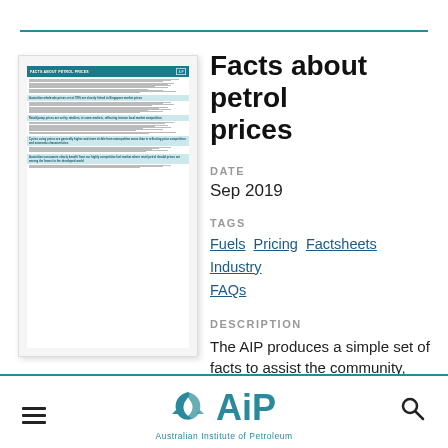[Figure (illustration): Thumbnail preview of a document titled 'Facts about Petrol Prices' with AIP logo, containing multiple sections with teal headers and small bullet-point text]
Facts about petrol prices
DATE
Sep 2019
TAGS
Fuels Pricing Factsheets Industry FAQs
DESCRIPTION
The AIP produces a simple set of facts to assist the community,
[Figure (logo): Australian Institute of Petroleum (AIP) logo with stylized leaf/arrows icon and AIP text, with tagline 'Australian Institute of Petroleum']